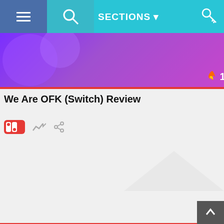≡  🔍  SECTIONS ▼
[Figure (screenshot): Purple/violet game card image with fire icon and count 1174]
We Are OFK (Switch) Review
[Figure (screenshot): Nintendo Switch icon, trending icon, share icon]
[Figure (screenshot): Klonoa Phantasy Reverie Series game art - REVIEW badge, star, fire icon count 1273]
Klonoa Phantasy Reverie Series (Switch) Review
[Figure (screenshot): Nintendo Switch icon, trending icon, share icon]
[Figure (screenshot): PREORDER GUIDE banner]
LATEST VOOKCAST
[Figure (screenshot): VOOKCAST EPISODE 239+240: DOUBLE FEATURE thumbnail with two men and Vookcast branded panels]